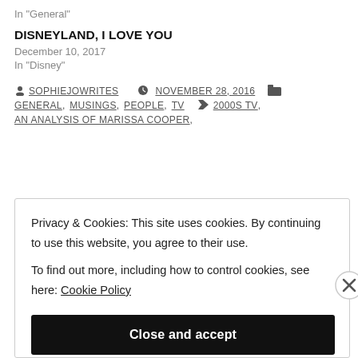In "General"
DISNEYLAND, I LOVE YOU
December 10, 2017
In "Disney"
SOPHIEJOWRITES  NOVEMBER 28, 2016  GENERAL, MUSINGS, PEOPLE, TV  2000S TV, AN ANALYSIS OF MARISSA COOPER,
Privacy & Cookies: This site uses cookies. By continuing to use this website, you agree to their use.
To find out more, including how to control cookies, see here: Cookie Policy
Close and accept